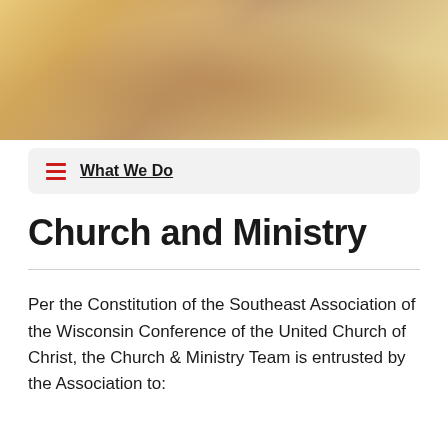[Figure (photo): Blurred warm-toned banner photo, appears to be an architectural or interior scene with golden/amber tones]
What We Do
Church and Ministry
Per the Constitution of the Southeast Association of the Wisconsin Conference of the United Church of Christ, the Church & Ministry Team is entrusted by the Association to: